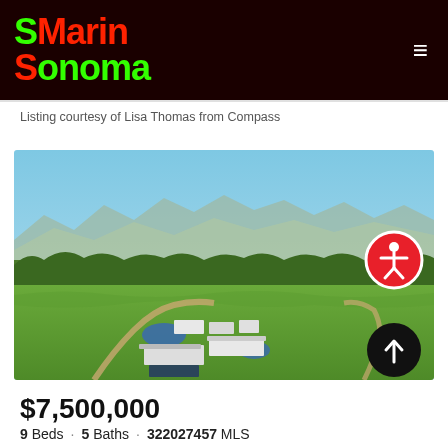Marin Sonoma
Listing courtesy of Lisa Thomas from Compass
[Figure (photo): Aerial drone photo of a large farm property with green fields, pond, farm buildings, and mountain range in background under blue sky]
$7,500,000
9 Beds · 5 Baths · 322027457 MLS